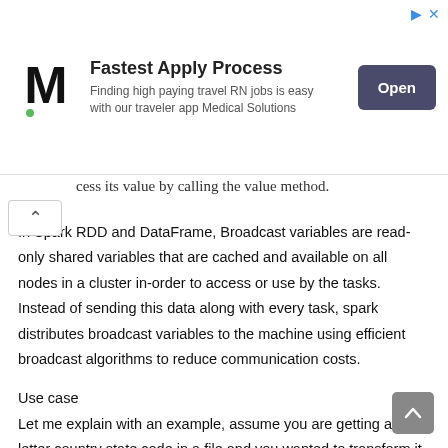[Figure (other): Advertisement banner for Medical Solutions traveler app showing logo, 'Fastest Apply Process' heading, subtitle text, and Open button]
...cess its value by calling the value method.
In Spark RDD and DataFrame, Broadcast variables are read-only shared variables that are cached and available on all nodes in a cluster in-order to access or use by the tasks. Instead of sending this data along with every task, spark distributes broadcast variables to the machine using efficient broadcast algorithms to reduce communication costs.
Use case
Let me explain with an example, assume you are getting a two-letter country state code in a file and you wanted to transform it to full state name, (for example CA to California, NY to New York e.t.c) by doing a lookup to